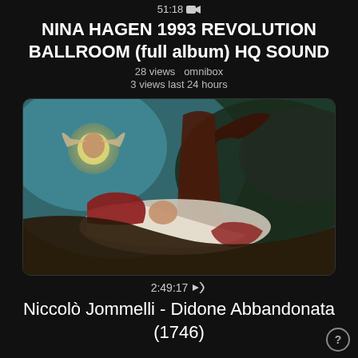51:18 📷
NINA HAGEN 1993 REVOLUTION BALLROOM (full album) HQ SOUND
28 views  omnibox
3 views last 24 hours
[Figure (photo): Classical painting showing dramatic figures — a reclining woman in white drapery, a man in dark cloak with arm raised, and a winged figure in upper left corner, with stormy sky background]
2:49:17 🔊
Niccolò Jommelli - Didone Abbandonata (1746)